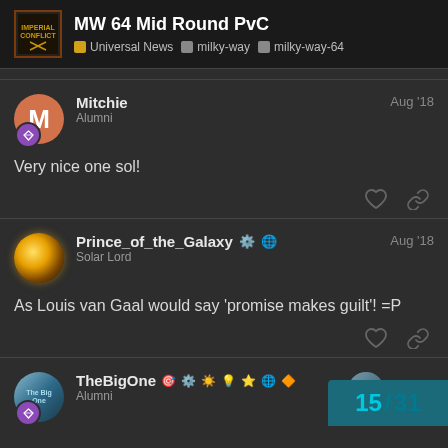MW 64 Mid Round PvC | Universal News > milky-way > milky-way-64
Mitchie Alumni Aug '18
Very nice one sol!
Prince_of_the_Galaxy Solar Lord Aug '18
As Louis van Gaal would say 'promise makes guilt'! =P
TheBigOne Alumni Sep '18
15 / 31